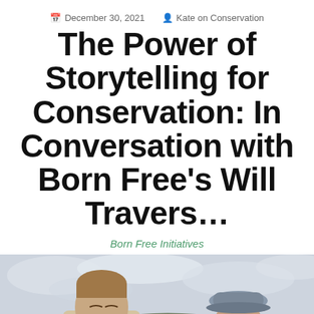December 30, 2021   Kate on Conservation
The Power of Storytelling for Conservation: In Conversation with Born Free's Will Travers...
Born Free Initiatives
[Figure (photo): Two people standing outdoors against a cloudy sky and landscape. Left: a man with short hair smiling slightly. Right: an older person wearing a blue-grey hat.]